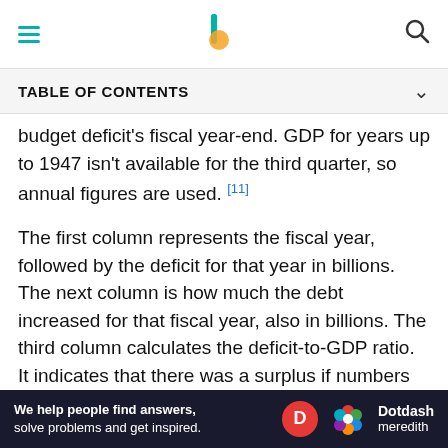Navigation bar with hamburger menu, logo, and search icon
TABLE OF CONTENTS
budget deficit's fiscal year-end. GDP for years up to 1947 isn't available for the third quarter, so annual figures are used. [11]
The first column represents the fiscal year, followed by the deficit for that year in billions. The next column is how much the debt increased for that fiscal year, also in billions. The third column calculates the deficit-to-GDP ratio. It indicates that there was a surplus if numbers are in parentheses. The fourth column describes events that affected the deficit and debt.
GDP is as of June 30, 2021, for 2021. The national debt
[Figure (other): Advertisement banner: 'We help people find answers, solve problems and get inspired.' with Dotdash Meredith logo]